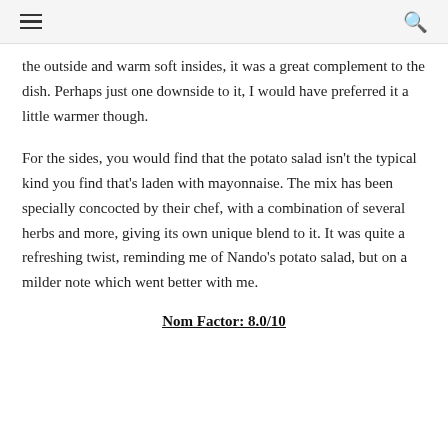☰  🔍
the outside and warm soft insides, it was a great complement to the dish. Perhaps just one downside to it, I would have preferred it a little warmer though.
For the sides, you would find that the potato salad isn't the typical kind you find that's laden with mayonnaise. The mix has been specially concocted by their chef, with a combination of several herbs and more, giving its own unique blend to it. It was quite a refreshing twist, reminding me of Nando's potato salad, but on a milder note which went better with me.
Nom Factor: 8.0/10